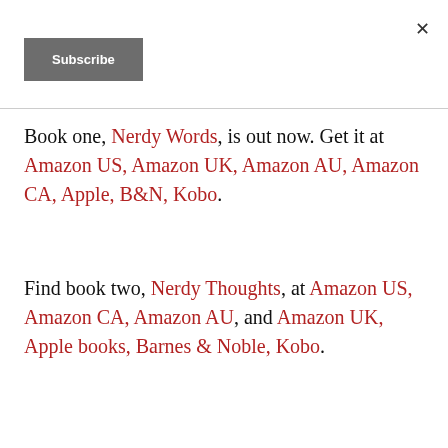Subscribe
Book one, Nerdy Words, is out now. Get it at Amazon US, Amazon UK, Amazon AU, Amazon CA, Apple, B&N, Kobo.
Find book two, Nerdy Thoughts, at Amazon US, Amazon CA, Amazon AU, and Amazon UK, Apple books, Barnes & Noble, Kobo.
Explosive Chemistry in